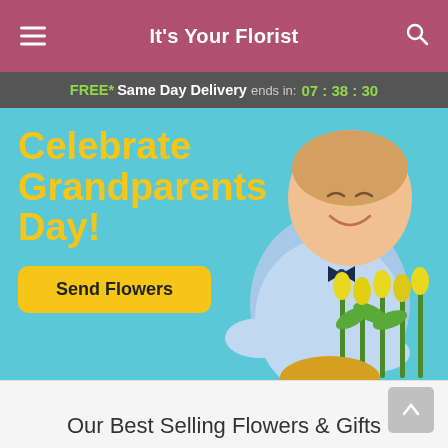It's Your Florist
FREE* Same Day Delivery ends in: 07 : 38 : 30
[Figure (illustration): Promotional hero banner showing a smiling young boy in a blue shirt and bow tie holding a large bouquet of yellow tulips against a light blue background, with text 'Celebrate Grandparents Day!' and a 'Send Flowers' button.]
Our Best Selling Flowers & Gifts